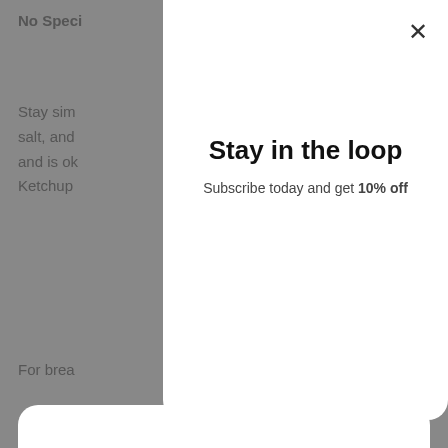No Speci
Stay sim ard, salt, and urants and is ok vor. Ketchup mits.
For brea ately the
Stay in the loop
Subscribe today and get 10% off